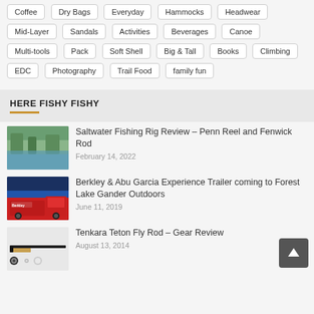Coffee
Dry Bags
Everyday
Hammocks
Headwear
Mid-Layer
Sandals
Activities
Beverages
Canoe
Multi-tools
Pack
Soft Shell
Big & Tall
Books
Climbing
EDC
Photography
Trail Food
family fun
HERE FISHY FISHY
[Figure (photo): Saltwater fishing location with trees and water]
Saltwater Fishing Rig Review – Penn Reel and Fenwick Rod
February 14, 2022
[Figure (photo): Berkley & Abu Garcia red and black experience trailer truck]
Berkley & Abu Garcia Experience Trailer coming to Forest Lake Gander Outdoors
June 11, 2019
[Figure (photo): Tenkara Teton fly rod gear review image]
Tenkara Teton Fly Rod – Gear Review
August 13, 2014